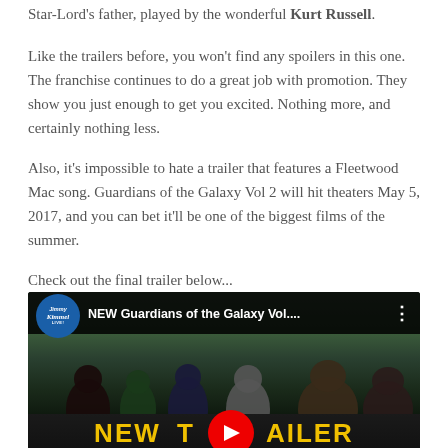Star-Lord's father, played by the wonderful Kurt Russell.
Like the trailers before, you won't find any spoilers in this one. The franchise continues to do a great job with promotion. They show you just enough to get you excited. Nothing more, and certainly nothing less.
Also, it's impossible to hate a trailer that features a Fleetwood Mac song. Guardians of the Galaxy Vol 2 will hit theaters May 5, 2017, and you can bet it'll be one of the biggest films of the summer.
Check out the final trailer below...
[Figure (screenshot): YouTube video embed showing 'NEW Guardians of the Galaxy Vol....' trailer from Jimmy Kimmel Live channel, with characters visible and 'NEW TRAILER' text overlay in gold letters with red YouTube play button]